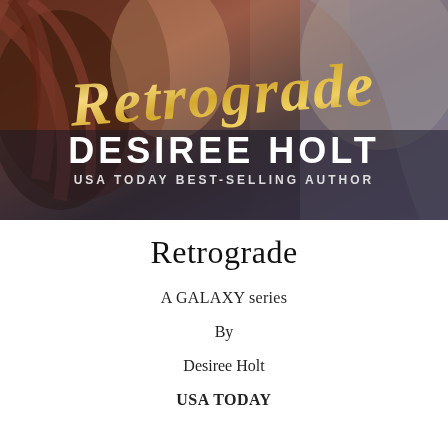[Figure (illustration): Book cover for 'Retrograde' by Desiree Holt. Features a romantic image with a woman with dark hair against a moody background. The title 'Retrograde' appears in large gold italic script. Below it in large white bold letters: 'DESIREE HOLT' and subtitle 'USA TODAY BEST-SELLING AUTHOR'.]
Retrograde
A GALAXY series
By
Desiree Holt
USA TODAY